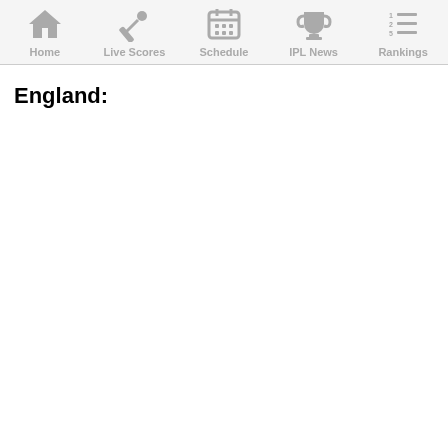Home | Live Scores | Schedule | IPL News | Rankings
England: